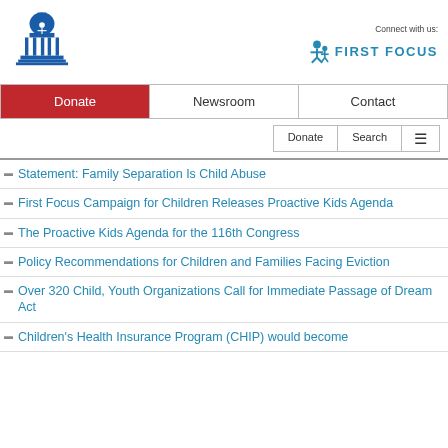[Figure (logo): Capitol building logo for First Focus Campaign for Children]
Connect with us:
[Figure (logo): First Focus brand logo with person icon and text FIRST FOCUS]
Donate | Newsroom | Contact
Statement: Family Separation Is Child Abuse
First Focus Campaign for Children Releases Proactive Kids Agenda
The Proactive Kids Agenda for the 116th Congress
Policy Recommendations for Children and Families Facing Eviction
Over 320 Child, Youth Organizations Call for Immediate Passage of Dream Act
Children's Health Insurance Program (CHIP) would become